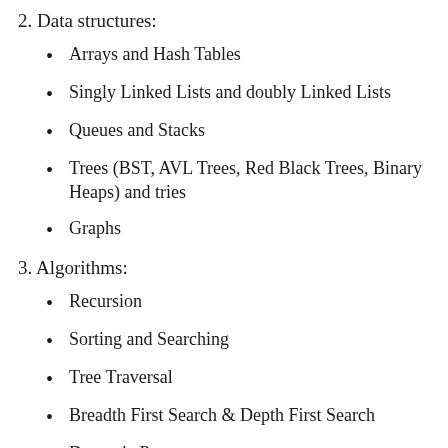2. Data structures:
Arrays and Hash Tables
Singly Linked Lists and doubly Linked Lists
Queues and Stacks
Trees (BST, AVL Trees, Red Black Trees, Binary Heaps) and tries
Graphs
3. Algorithms:
Recursion
Sorting and Searching
Tree Traversal
Breadth First Search & Depth First Search
Dynamic Programming